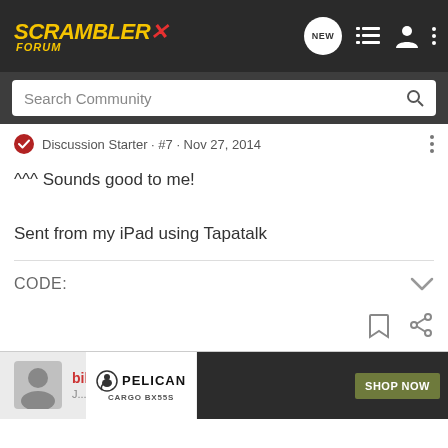SCRAMBLER X FORUM — navigation bar with search
Discussion Starter · #7 · Nov 27, 2014
^^^ Sounds good to me!
Sent from my iPad using Tapatalk
CODE:
[Figure (screenshot): Next post preview with avatar and Pelican ad banner showing CARGO BX55S and SHOP NOW button]